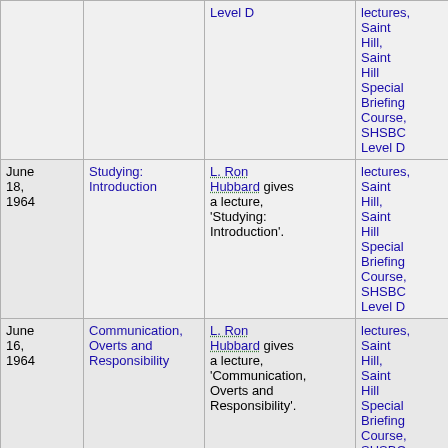| Date | Title | Description | Series |
| --- | --- | --- | --- |
|  |  | Level D | lectures, Saint Hill, Saint Hill Special Briefing Course, SHSBC Level D |
| June 18, 1964 | Studying: Introduction | L. Ron Hubbard gives a lecture, 'Studying: Introduction'. | lectures, Saint Hill, Saint Hill Special Briefing Course, SHSBC Level D |
| June 16, 1964 | Communication, Overts and Responsibility | L. Ron Hubbard gives a lecture, 'Communication, Overts and Responsibility'. | lectures, Saint Hill, Saint Hill Special Briefing Course, SHSBC Level D |
| June 9, 1964 | The Cycle of Action: Its Interpretation on the E-Meter | L. Ron Hubbard gives a lecture, 'The Cycle of Action: Its Interpretation on the E-Meter'. | lectures, Saint Hill, Saint Hill Special Briefing Course, SHSBC Level D |
| May 19, 1964 | The Preclear and Getting Auditing to | L. Ron Hubbard gives a lecture, 'The Preclear and | lectures, Saint Hill, Saint Hill Special Briefing Course, SHSBC Level D |